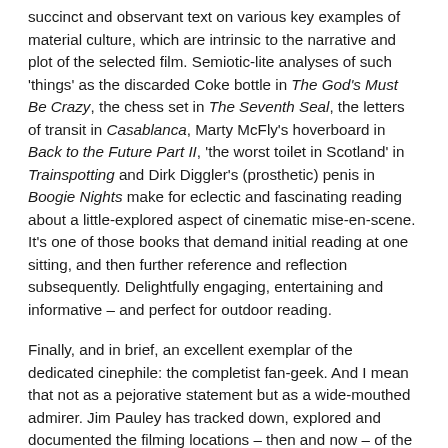succinct and observant text on various key examples of material culture, which are intrinsic to the narrative and plot of the selected film. Semiotic-lite analyses of such 'things' as the discarded Coke bottle in The God's Must Be Crazy, the chess set in The Seventh Seal, the letters of transit in Casablanca, Marty McFly's hoverboard in Back to the Future Part II, 'the worst toilet in Scotland' in Trainspotting and Dirk Diggler's (prosthetic) penis in Boogie Nights make for eclectic and fascinating reading about a little-explored aspect of cinematic mise-en-scene. It's one of those books that demand initial reading at one sitting, and then further reference and reflection subsequently. Delightfully engaging, entertaining and informative – and perfect for outdoor reading.
Finally, and in brief, an excellent exemplar of the dedicated cinephile: the completist fan-geek. And I mean that not as a pejorative statement but as a wide-mouthed admirer. Jim Pauley has tracked down, explored and documented the filming locations – then and now – of the most significant